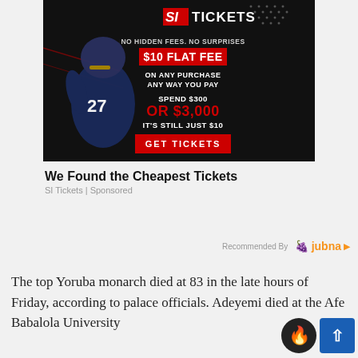[Figure (screenshot): SI Tickets advertisement banner on dark background with football player wearing jersey #27. Text reads: SI TICKETS, NO HIDDEN FEES. NO SURPRISES, $10 FLAT FEE, ON ANY PURCHASE ANY WAY YOU PAY, SPEND $300 OR $3,000 IT'S STILL JUST $10, GET TICKETS button.]
We Found the Cheapest Tickets
SI Tickets | Sponsored
Recommended By Jubna
The top Yoruba monarch died at 83 in the late hours of Friday, according to palace officials. Adeyemi died at the Afe Babalola University